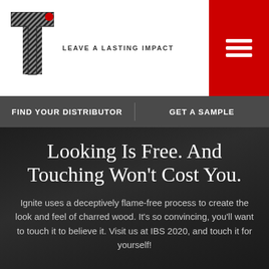[Figure (logo): Tileboard by Torino logo — striped T letter mark with a small red circle, above text LEAVE A LASTING IMPACT]
[Figure (infographic): Red hamburger menu button (three white horizontal lines on red background)]
FIND YOUR DISTRIBUTOR   GET A SAMPLE
Looking Is Free. And Touching Won't Cost You.
Ignite uses a deceptively flame-free process to create the look and feel of charred wood. It's so convincing, you'll want to touch it to believe it. Visit us at IBS 2020, and touch it for yourself!